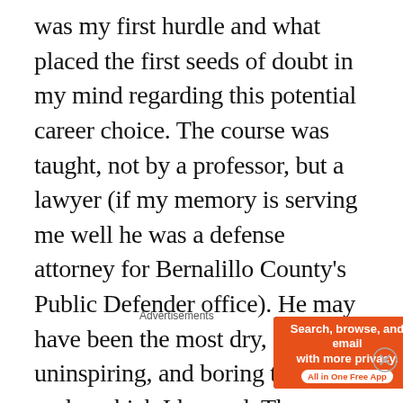was my first hurdle and what placed the first seeds of doubt in my mind regarding this potential career choice. The course was taught, not by a professor, but a lawyer (if my memory is serving me well he was a defense attorney for Bernalillo County's Public Defender office). He may have been the most dry, uninspiring, and boring teacher under which I learned. The course was just one afternoon but his monotone voice was constantly lulling me to sleep. Perhaps it was the subject matter. If you can
Advertisements
[Figure (other): DuckDuckGo advertisement banner with orange left panel reading 'Search, browse, and email with more privacy. All in One Free App' and dark right panel with DuckDuckGo logo and name.]